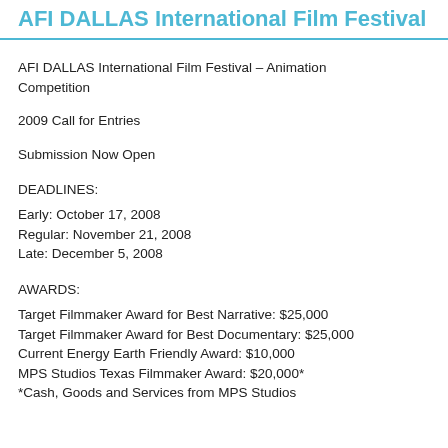AFI DALLAS International Film Festival
AFI DALLAS International Film Festival – Animation Competition
2009 Call for Entries
Submission Now Open
DEADLINES:
Early: October 17, 2008
Regular: November 21, 2008
Late: December 5, 2008
AWARDS:
Target Filmmaker Award for Best Narrative: $25,000
Target Filmmaker Award for Best Documentary: $25,000
Current Energy Earth Friendly Award: $10,000
MPS Studios Texas Filmmaker Award: $20,000*
*Cash, Goods and Services from MPS Studios